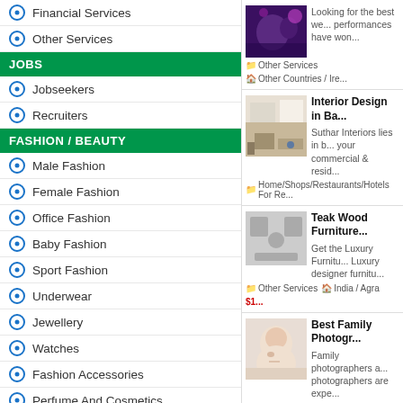Financial Services
Other Services
JOBS
Jobseekers
Recruiters
FASHION / BEAUTY
Male Fashion
Female Fashion
Office Fashion
Baby Fashion
Sport Fashion
Underwear
Jewellery
Watches
Fashion Accessories
Perfume And Cosmetics
Other Fashion
ENTERTAINMENT
Tourism
Places Of Entertainment
Amusement Parks
[Figure (photo): Purple-lit event/party photo]
Looking for the best we... performances have won...
Other Services   Other Countries / Ire...
[Figure (photo): White interior design room with furniture]
Interior Design in Ba...
Suthar Interiors lies in b... your commercial & resid...
Home/Shops/Restaurants/Hotels For Re...
[Figure (photo): Teak wood furniture placeholder image]
Teak Wood Furniture...
Get the Luxury Furnitu... Luxury designer furnitu...
Other Services   India / Agra   $1...
[Figure (photo): Baby family photography image]
Best Family Photogr...
Family photographers a... photographers are expe...
Other Services   United States / Calif...